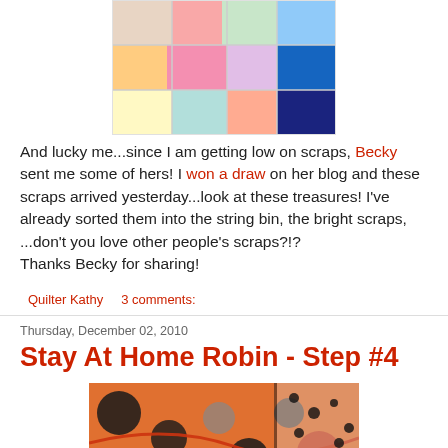[Figure (photo): Photo of colorful fabric scraps / quilt pieces from above]
And lucky me...since I am getting low on scraps, Becky sent me some of hers! I won a draw on her blog and these scraps arrived yesterday...look at these treasures! I've already sorted them into the string bin, the bright scraps, ...don't you love other people's scraps?!?
Thanks Becky for sharing!
Quilter Kathy    3 comments:
Thursday, December 02, 2010
Stay At Home Robin - Step #4
[Figure (photo): Photo of orange and black patterned quilt fabric with circles]